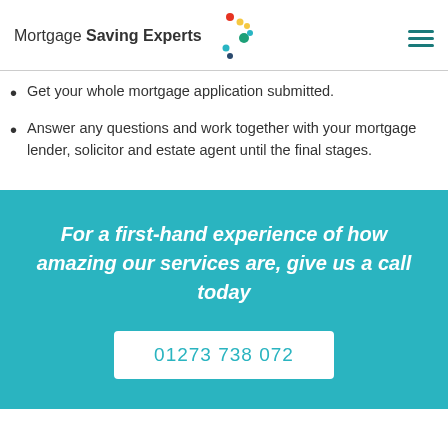Mortgage Saving Experts
Get your whole mortgage application submitted.
Answer any questions and work together with your mortgage lender, solicitor and estate agent until the final stages.
For a first-hand experience of how amazing our services are, give us a call today
01273 738 072